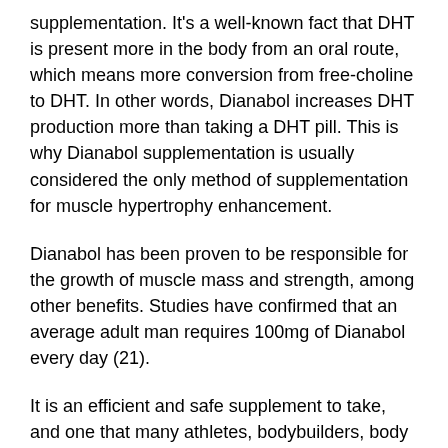supplementation. It's a well-known fact that DHT is present more in the body from an oral route, which means more conversion from free-choline to DHT. In other words, Dianabol increases DHT production more than taking a DHT pill. This is why Dianabol supplementation is usually considered the only method of supplementation for muscle hypertrophy enhancement.
Dianabol has been proven to be responsible for the growth of muscle mass and strength, among other benefits. Studies have confirmed that an average adult man requires 100mg of Dianabol every day (21).
It is an efficient and safe supplement to take, and one that many athletes, bodybuilders, body builders and body builders alike are very pleased with.